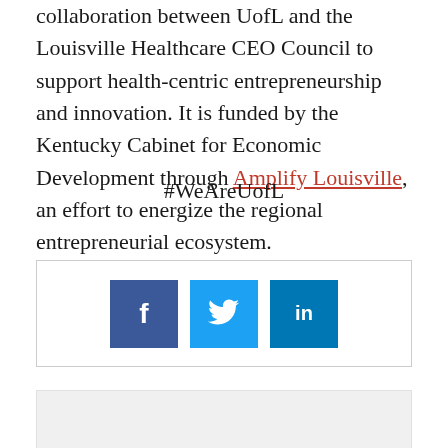collaboration between UofL and the Louisville Healthcare CEO Council to support health-centric entrepreneurship and innovation. It is funded by the Kentucky Cabinet for Economic Development through Amplify Louisville, an effort to energize the regional entrepreneurial ecosystem.
#WeAreUofL
[Figure (infographic): Social media sharing buttons: Facebook (f), Twitter (bird icon), LinkedIn (in)]
[Figure (other): Gray box placeholder at bottom of page]